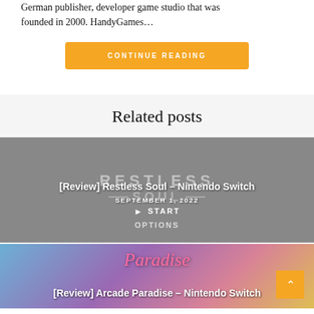German publisher, developer game studio that was founded in 2000. HandyGames…
CONTINUE READING
Related posts
[Figure (screenshot): Gray card showing Restless Soul game logo and menu with START option. Title: [Review] Restless Soul – Nintendo Switch. Date: SEPTEMBER 1, 2022]
[Figure (screenshot): Photo card showing colorful arcade imagery with Paradise script text. Title: [Review] Arcade Paradise – Nintendo Switch]